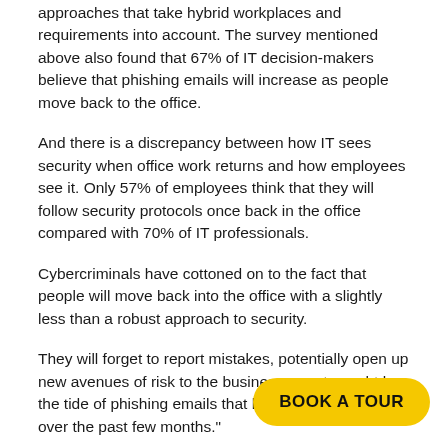approaches that take hybrid workplaces and requirements into account. The survey mentioned above also found that 67% of IT decision-makers believe that phishing emails will increase as people move back to the office.
And there is a discrepancy between how IT sees security when office work returns and how employees see it. Only 57% of employees think that they will follow security protocols once back in the office compared with 70% of IT professionals.
Cybercriminals have cottoned on to the fact that people will move back into the office with a slightly less than a robust approach to security.
They will forget to report mistakes, potentially open up new avenues of risk to the business or get caught by the tide of phishing emails that have become rampant over the past few months."
People are people. The pandemic ha... Implementing further punishments for... cybersecurity mistakes will only make things worse.